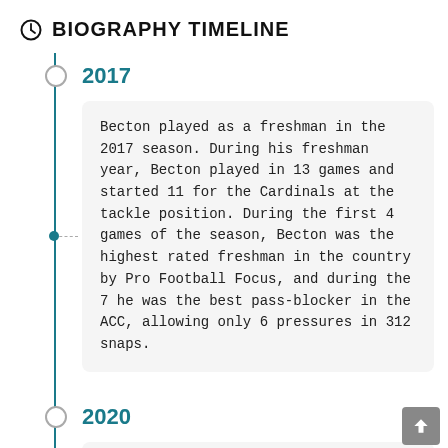BIOGRAPHY TIMELINE
2017
Becton played as a freshman in the 2017 season. During his freshman year, Becton played in 13 games and started 11 for the Cardinals at the tackle position. During the first 4 games of the season, Becton was the highest rated freshman in the country by Pro Football Focus, and during the 7 he was the best pass-blocker in the ACC, allowing only 6 pressures in 312 snaps.
2020
Becton was selected with the 11th overall pick by the New York Jets in the 2020 NFL Draft.